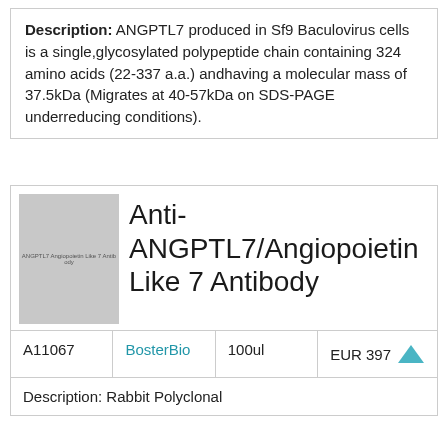Description: ANGPTL7 produced in Sf9 Baculovirus cells is a single,glycosylated polypeptide chain containing 324 amino acids (22-337 a.a.) andhaving a molecular mass of 37.5kDa (Migrates at 40-57kDa on SDS-PAGE underreducing conditions).
[Figure (photo): Small gray placeholder image with faint text reading 'ANGPTL7 Angiopoietin Like 7 Antibody']
Anti-ANGPTL7/Angiopoietin Like 7 Antibody
| A11067 | BosterBio | 100ul | EUR 397 |
Description: Rabbit Polyclonal